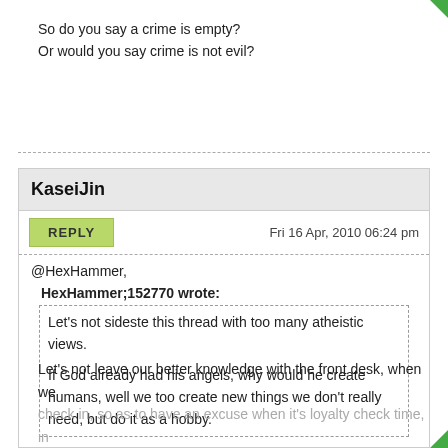So do you say a crime is empty?
Or would you say crime is not evil?
@HexHammer,
HexHammer;152770 wrote:
Let's not sideste this thread with too many atheistic views.

If God already had his angels, why would he create humans, well we too create new things we don't really need, but do it as a hobby.
Let's not leave our better knowledge with the front desk, when we check in, so as to have an excuse when it's loyalty check time, in